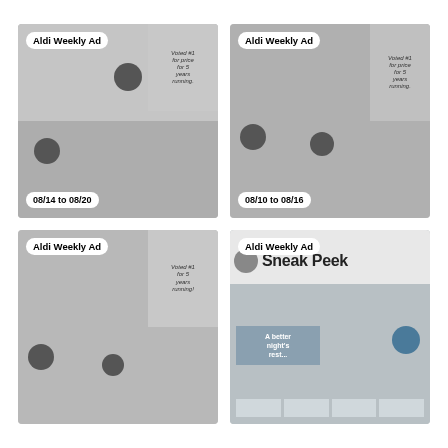[Figure (other): Aldi Weekly Ad thumbnail showing produce items including grapes and kiwi, with circular price tags (99¢, etc.), dated 08/14 to 08/20]
[Figure (other): Aldi Weekly Ad thumbnail showing vegetables and produce, with price circles ($2.99, 39¢, etc.), dated 08/10 to 08/16]
[Figure (other): Aldi Weekly Ad thumbnail showing fruits and produce with price circles ($1.00, 95¢, etc.), no date visible]
[Figure (other): Aldi Weekly Ad Sneak Peek thumbnail showing bedroom and furniture items with text 'A better night's rest...' and prices $12.99, $29.99, $15.99]